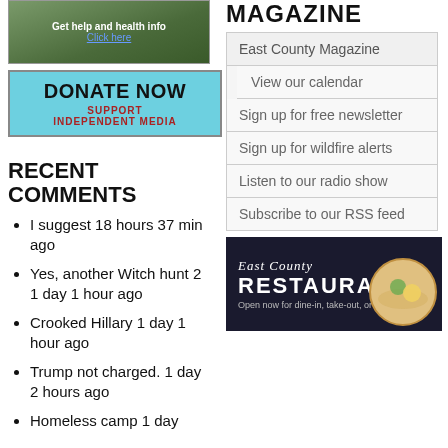[Figure (photo): Green nature/health banner with text 'Get help and health info' and 'Click here' link]
[Figure (infographic): Donate Now button - cyan/teal background with text 'DONATE NOW SUPPORT INDEPENDENT MEDIA']
RECENT COMMENTS
I suggest 18 hours 37 min ago
Yes, another Witch hunt 2 1 day 1 hour ago
Crooked Hillary 1 day 1 hour ago
Trump not charged.  1 day 2 hours ago
Homeless camp 1 day
MAGAZINE
East County Magazine
View our calendar
Sign up for free newsletter
Sign up for wildfire alerts
Listen to our radio show
Subscribe to our RSS feed
[Figure (illustration): East County Restaurants banner - dark background with script 'East County', large text 'RESTAURANTS', subtitle 'Open now for dine-in, take-out, or delivery', plate with food on right side]